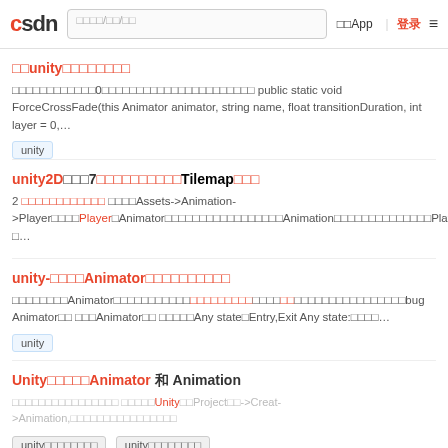CSDN 搜索/问答/文章 下载App | 登录 ≡
关于unity动画过渡的方法
在Animator中找到过渡0的设置在这里通过脚本来设置 public static void ForceCrossFade(this Animator animator, string name, float transitionDuration, int layer = 0,…
unity
unity2D横版游戏7.角色移动动画控制Tilemap碰撞层
2 创建角色动画控制器 双击打开Assets->Animation->Player文件夹，找到Player的Animator控制器，双击打开它，添加Animation动画，然后给角色添加动画，有Player的run和idle两个动画 可…
unity-关于Animator的运动状态机解析
文章 在使用Animator动画状态机时在状态机中会有一些状态用来处理条件不正常时发生bug Animator里 对于Animator里 其中有Any state和Entry,Exit Any state:表示任何…
unity
Unity中使用Animator 和 Animation
使用动画的两种方式 第一种：Unity里在Project里->Creat->Animation 第二种方式使用…
unity动画状态机
unity动画控制器